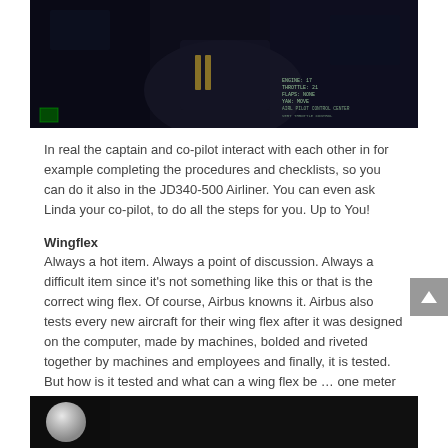[Figure (photo): Dark cockpit interior scene with a pilot in uniform visible, HUD/instrument displays with green text overlay in bottom right, green indicator box in bottom left corner]
In real the captain and co-pilot interact with each other in for example completing the procedures and checklists, so you can do it also in the JD340-500 Airliner. You can even ask Linda your co-pilot, to do all the steps for you. Up to You!
Wingflex
Always a hot item. Always a point of discussion. Always a difficult item since it's not something like this or that is the correct wing flex. Of course, Airbus knowns it. Airbus also tests every new aircraft for their wing flex after it was designed on the computer, made by machines, bolded and riveted together by machines and employees and finally, it is tested. But how is it tested and what can a wing flex be … one meter up/down, perhaps two meters up/down or perhaps even more then 5 meters up/down? During the many discussions I had with Eugeny from JARDesign, I also found this awesome Airbus movie of a typical test for wing flex on an A350. I know, it's the wrong aircraft, but it will give you a good idea what and how it can be.
[Figure (photo): Dark background image, bottom portion of page, with a white circular shape visible on the left side]